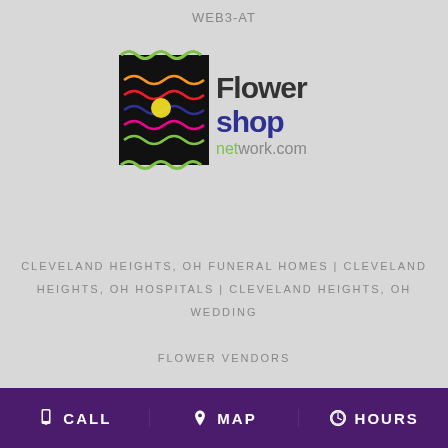WEB3-AT
[Figure (logo): Flower Shop Network .com logo with colorful flower graphic on black square]
CLEVELAND HEIGHTS, OH FUNERAL HOMES | CLEVELAND HEIGHTS, OH HOSPITALS | CLEVELAND HEIGHTS, OH WEDDING FLOWER VENDORS CLEVELAND HEIGHTS, OH WEATHER | OH STATE GOVERNMENT SITE PRIVACY POLICY | TERMS OF PURCHASE
CALL   MAP   HOURS